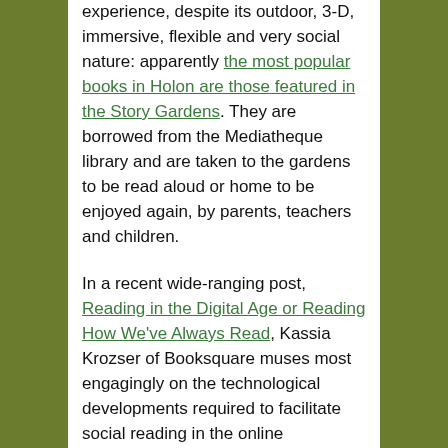experience, despite its outdoor, 3-D, immersive, flexible and very social nature: apparently the most popular books in Holon are those featured in the Story Gardens. They are borrowed from the Mediatheque library and are taken to the gardens to be read aloud or home to be enjoyed again, by parents, teachers and children.
In a recent wide-ranging post, Reading in the Digital Age or Reading How We've Always Read, Kassia Krozser of Booksquare muses most engagingly on the technological developments required to facilitate social reading in the online environment, but what struck me is her assertion that reading has been a social activity for much longer than it has been a solitary one. She reminds us that
Social reading is normal reading. …  Even after the invention of the Gutenberg